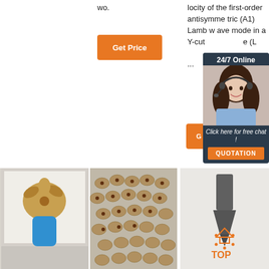wo.
locity of the first-order antisymmetric (A1) Lamb wave mode in a Y-cut ... e (L ...
[Figure (screenshot): Orange 'Get Price' button]
[Figure (infographic): 24/7 Online chat overlay with woman wearing headset, 'Click here for free chat!' text, and orange QUOTATION button]
[Figure (photo): Drill bit product photo on blue stand]
[Figure (photo): Many drill bit heads laid out on a surface]
[Figure (photo): Single chisel-shaped drill bit with orange TOP logo]